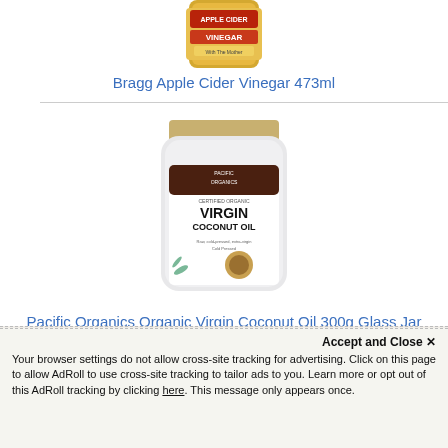[Figure (photo): Bragg Apple Cider Vinegar 473ml bottle, partial view at top]
Bragg Apple Cider Vinegar 473ml
[Figure (photo): Pacific Organics Certified Organic Virgin Coconut Oil 300g Glass Jar]
Pacific Organics Organic Virgin Coconut Oil 300g Glass Jar
Join the conversation!
Accept and Close ✕
Your browser settings do not allow cross-site tracking for advertising. Click on this page to allow AdRoll to use cross-site tracking to tailor ads to you. Learn more or opt out of this AdRoll tracking by clicking here. This message only appears once.